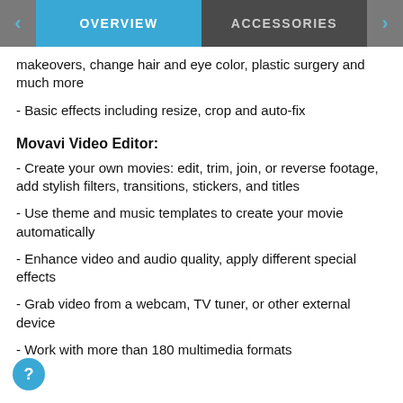OVERVIEW   ACCESSORIES
makeovers, change hair and eye color, plastic surgery and much more
- Basic effects including resize, crop and auto-fix
Movavi Video Editor:
- Create your own movies: edit, trim, join, or reverse footage, add stylish filters, transitions, stickers, and titles
- Use theme and music templates to create your movie automatically
- Enhance video and audio quality, apply different special effects
- Grab video from a webcam, TV tuner, or other external device
- Work with more than 180 multimedia formats